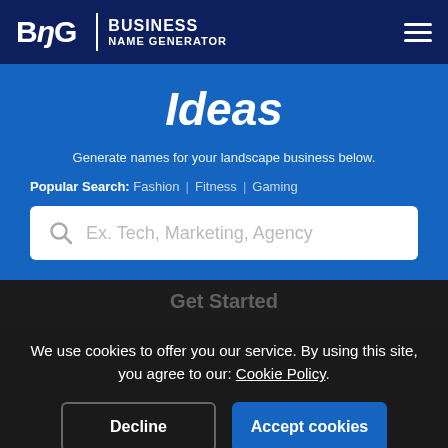BNG | BUSINESS NAME GENERATOR
Ideas
Generate names for your landscape business below.
Popular Search: Fashion | Fitness | Gaming
[Figure (screenshot): Search input box with placeholder text 'Ex. Tech, Marketing, Agency']
Get Started
We use cookies to offer you our service. By using this site, you agree to our: Cookie Policy.
Decline | Accept cookies